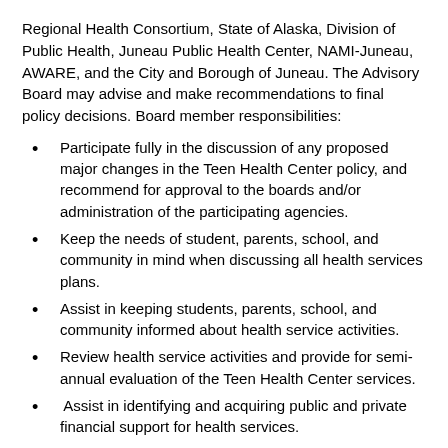Regional Health Consortium, State of Alaska, Division of Public Health, Juneau Public Health Center, NAMI-Juneau, AWARE, and the City and Borough of Juneau. The Advisory Board may advise and make recommendations to final policy decisions. Board member responsibilities:
Participate fully in the discussion of any proposed major changes in the Teen Health Center policy, and recommend for approval to the boards and/or administration of the participating agencies.
Keep the needs of student, parents, school, and community in mind when discussing all health services plans.
Assist in keeping students, parents, school, and community informed about health service activities.
Review health service activities and provide for semi-annual evaluation of the Teen Health Center services.
Assist in identifying and acquiring public and private financial support for health services.
Articulate the position of the Advisory Board at such forums as public hearings and School Board meetings, and advocate for health services at the Teen Health Center.